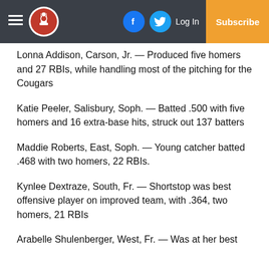Navigation header with hamburger menu, logo, Facebook icon, Twitter icon, Log In, Subscribe
Lonna Addison, Carson, Jr. — Produced five homers and 27 RBIs, while handling most of the pitching for the Cougars
Katie Peeler, Salisbury, Soph. — Batted .500 with five homers and 16 extra-base hits, struck out 137 batters
Maddie Roberts, East, Soph. — Young catcher batted .468 with two homers, 22 RBIs.
Kynlee Dextraze, South, Fr. — Shortstop was best offensive player on improved team, with .364, two homers, 21 RBIs
Arabelle Shulenberger, West, Fr. — Was at her best